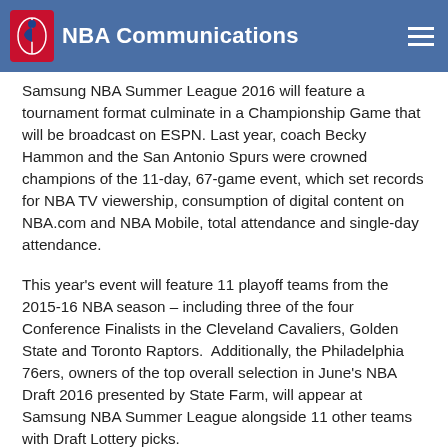NBA Communications
Samsung NBA Summer League 2016 will feature a tournament format culminate in a Championship Game that will be broadcast on ESPN. Last year, coach Becky Hammon and the San Antonio Spurs were crowned champions of the 11-day, 67-game event, which set records for NBA TV viewership, consumption of digital content on NBA.com and NBA Mobile, total attendance and single-day attendance.
This year's event will feature 11 playoff teams from the 2015-16 NBA season – including three of the four Conference Finalists in the Cleveland Cavaliers, Golden State and Toronto Raptors.  Additionally, the Philadelphia 76ers, owners of the top overall selection in June's NBA Draft 2016 presented by State Farm, will appear at Samsung NBA Summer League alongside 11 other teams with Draft Lottery picks.
Samsung NBA Summer League has long served as the launch pad for future NBA stars.  Two-time Kia NBA Most Valuable Player Stephen Curry of Golden State played in Las Vegas prior to his rookie season, as did the last two Kia NBA Rookies of the Year: Karl-Anthony Towns (2015-16 winner) and Andrew Wiggins (2014-15) of the Minnesota